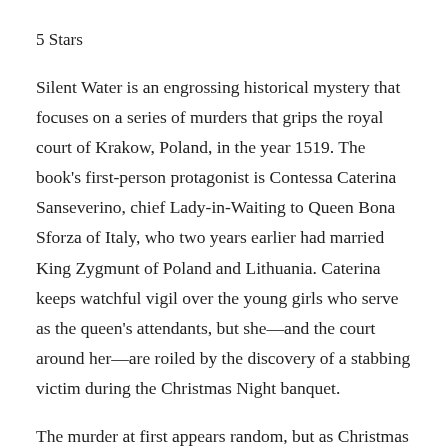5 Stars
Silent Water is an engrossing historical mystery that focuses on a series of murders that grips the royal court of Krakow, Poland, in the year 1519. The book’s first-person protagonist is Contessa Caterina Sanseverino, chief Lady-in-Waiting to Queen Bona Sforza of Italy, who two years earlier had married King Zygmunt of Poland and Lithuania. Caterina keeps watchful vigil over the young girls who serve as the queen’s attendants, but she—and the court around her—are roiled by the discovery of a stabbing victim during the Christmas Night banquet.
The murder at first appears random, but as Christmas turns into the New Year, a second murder occurs. Clues